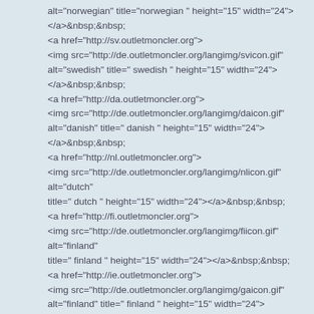alt="norwegian" title="norwegian " height="15" width="24">
</a>&nbsp;&nbsp;
<a href="http://sv.outletmoncler.org">
<img src="http://de.outletmoncler.org/langimg/svicon.gif"
alt="swedish" title=" swedish " height="15" width="24">
</a>&nbsp;&nbsp;
<a href="http://da.outletmoncler.org">
<img src="http://de.outletmoncler.org/langimg/daicon.gif"
alt="danish" title=" danish " height="15" width="24">
</a>&nbsp;&nbsp;
<a href="http://nl.outletmoncler.org">
<img src="http://de.outletmoncler.org/langimg/nlicon.gif" alt="dutch"
title=" dutch " height="15" width="24"></a>&nbsp;&nbsp;
<a href="http://fi.outletmoncler.org">
<img src="http://de.outletmoncler.org/langimg/fiicon.gif" alt="finland"
title=" finland " height="15" width="24"></a>&nbsp;&nbsp;
<a href="http://ie.outletmoncler.org">
<img src="http://de.outletmoncler.org/langimg/gaicon.gif"
alt="finland" title=" finland " height="15" width="24">
</a>&nbsp;&nbsp;
<a href="http://www.outletmoncler.org">
<img src="http://de.outletmoncler.org/langimg/icon.gif" alt="English"
title=" English " height="15" width="24"></a>&nbsp;&nbsp;
</div></div>
<div>